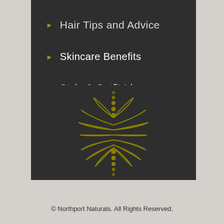Hair Tips and Advice
Skincare Benefits
Style & Outfit Ideas
[Figure (logo): Northport Naturals decorative floral/botanical logo mark in olive/gold color on dark background]
© Northport Naturals. All Rights Reserved.